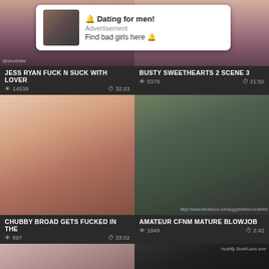[Figure (screenshot): Adult video thumbnails grid with advertisement overlay]
Dating for men! Advertisement Find bad girls here
JESS RYAN FUCK N SUCK WITH LOVER
14539 views 32:23
BUSTY SWEETHEARTS 2 SCENE 3
5378 views 21:50
CHUBBY BROAD GETS FUCKED IN THE
897 views 33:02
AMATEUR CFNM MATURE BLOWJOB
1949 views 2:42